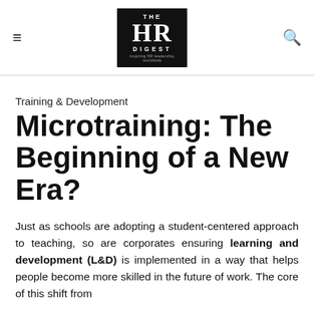THE HR DIGEST — Inspiring HR leadership, worldwide
Training & Development
Microtraining: The Beginning of a New Era?
Just as schools are adopting a student-centered approach to teaching, so are corporates ensuring learning and development (L&D) is implemented in a way that helps people become more skilled in the future of work. The core of this shift from